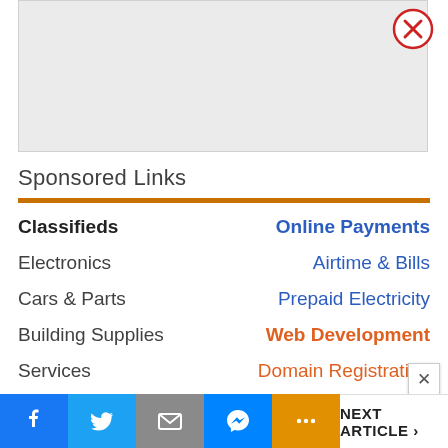[Figure (other): Advertisement placeholder area (gray rectangle with close button)]
Sponsored Links
Classifieds | Online Payments
Electronics | Airtime & Bills
Cars & Parts | Prepaid Electricity
Building Supplies | Web Development
Services | Domain Registration
NEXT ARTICLE >